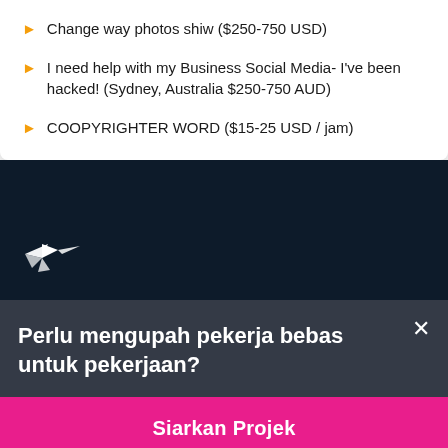Change way photos shiw ($250-750 USD)
I need help with my Business Social Media- I've been hacked! (Sydney, Australia $250-750 AUD)
COOPYRIGHTER WORD ($15-25 USD / jam)
[Figure (logo): Freelancer.com hummingbird logo in white on dark navy background]
Perlu mengupah pekerja bebas untuk pekerjaan?
Siarkan Projek